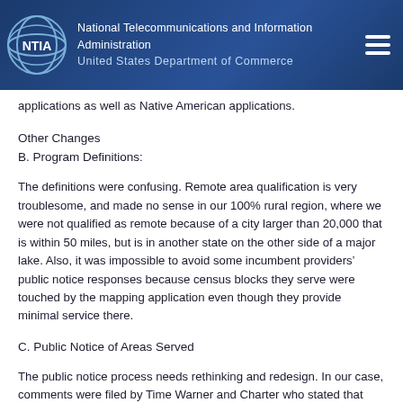National Telecommunications and Information Administration
United States Department of Commerce
applications as well as Native American applications.
Other Changes
B. Program Definitions:
The definitions were confusing. Remote area qualification is very troublesome, and made no sense in our 100% rural region, where we were not qualified as remote because of a city larger than 20,000 that is within 50 miles, but is in another state on the other side of a major lake. Also, it was impossible to avoid some incumbent providers’ public notice responses because census blocks they serve were touched by the mapping application even though they provide minimal service there.
C. Public Notice of Areas Served
The public notice process needs rethinking and redesign. In our case, comments were filed by Time Warner and Charter who stated that they provide internet access in our area. We are a Middle Mile application